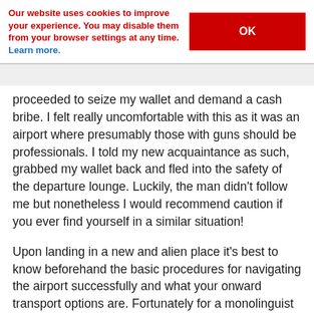Our website uses cookies to improve your experience. You may disable them from your browser settings at any time. Learn more.
OK
proceeded to seize my wallet and demand a cash bribe. I felt really uncomfortable with this as it was an airport where presumably those with guns should be professionals. I told my new acquaintance as such, grabbed my wallet back and fled into the safety of the departure lounge. Luckily, the man didn't follow me but nonetheless I would recommend caution if you ever find yourself in a similar situation!
Upon landing in a new and alien place it's best to know beforehand the basic procedures for navigating the airport successfully and what your onward transport options are. Fortunately for a monolinguist like myself nearly all airports in the world have directions and signs in English as well as the local language, so that's always a help. The arrivals hall can often feel like a chaotic